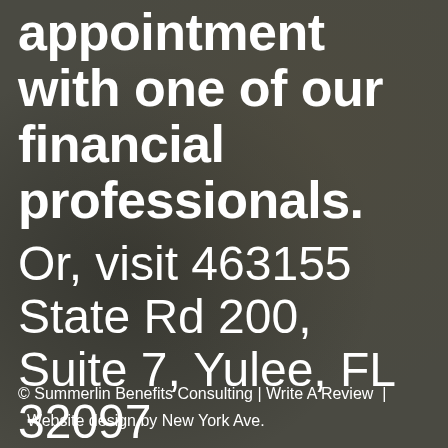appointment with one of our financial professionals.
Or, visit 463155 State Rd 200, Suite 7, Yulee, FL 32097
© Summerlin Benefits Consulting | Write A Review | Website design by New York Ave.